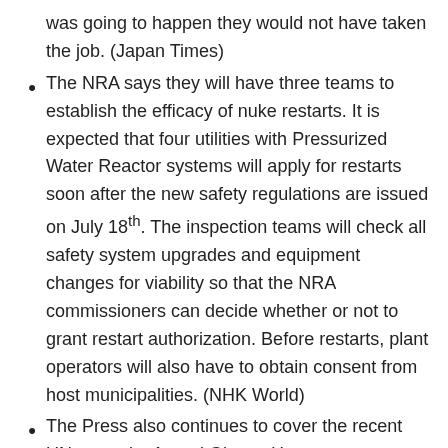was going to happen they would not have taken the job. (Japan Times)
The NRA says they will have three teams to establish the efficacy of nuke restarts. It is expected that four utilities with Pressurized Water Reactor systems will apply for restarts soon after the new safety regulations are issued on July 18th. The inspection teams will check all safety system upgrades and equipment changes for viability so that the NRA commissioners can decide whether or not to grant restart authorization. Before restarts, plant operators will also have to obtain consent from host municipalities. (NHK World)
The Press also continues to cover the recent UN report by Anand Glover. Here are some specific quotes now in the Press... “Evacuees should be recommended to return only when the radiation